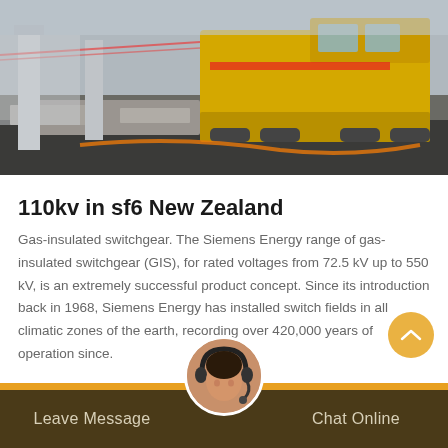[Figure (photo): Outdoor industrial/road scene with yellow heavy machinery (paving or track-laying equipment) on a construction site, gravel and asphalt visible, columns in background.]
110kv in sf6 New Zealand
Gas-insulated switchgear. The Siemens Energy range of gas-insulated switchgear (GIS), for rated voltages from 72.5 kV up to 550 kV, is an extremely successful product concept. Since its introduction back in 1968, Siemens Energy has installed switch fields in all climatic zones of the earth, recording over 420,000 years of operation since.
Leave Message   Chat Online